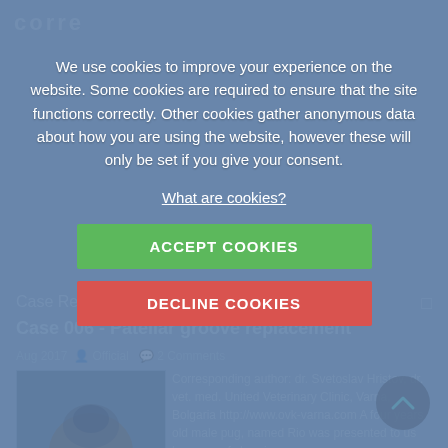[Figure (screenshot): Background of a veterinary case report website (Corre) showing a Case Reports section with article 'Case 006 - Patellar groove replacement', dated Aug 2017, with a pug knee surgery image and partial article text. The page is dimmed by a cookie consent overlay.]
We use cookies to improve your experience on the website. Some cookies are required to ensure that the site functions correctly. Other cookies gather anonymous data about how you are using the website, however these will only be set if you give your consent.
What are cookies?
ACCEPT COOKIES
DECLINE COOKIES